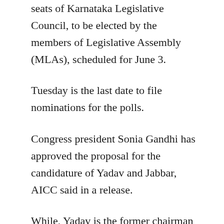seats of Karnataka Legislative Council, to be elected by the members of Legislative Assembly (MLAs), scheduled for June 3.
Tuesday is the last date to file nominations for the polls.
Congress president Sonia Gandhi has approved the proposal for the candidature of Yadav and Jabbar, AICC said in a release.
While, Yadav is the former chairman of Bangalore Metropolitan Transport Corporation (BMTC), Jabbar is currently the president of the minority cell of the Karnataka Pradesh Congress Committee (KPCC) and a former MLC.